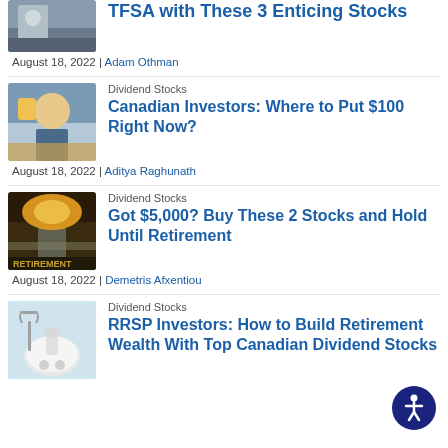TFSA with These 3 Enticing Stocks
August 18, 2022 | Adam Othman
Dividend Stocks
Canadian Investors: Where to Put $100 Right Now?
August 18, 2022 | Aditya Raghunath
Dividend Stocks
Got $5,000? Buy These 2 Stocks and Hold Until Retirement
August 18, 2022 | Demetris Afxentiou
Dividend Stocks
RRSP Investors: How to Build Retirement Wealth With Top Canadian Dividend Stocks
[Figure (illustration): Accessibility icon button (circular dark blue button with person icon)]